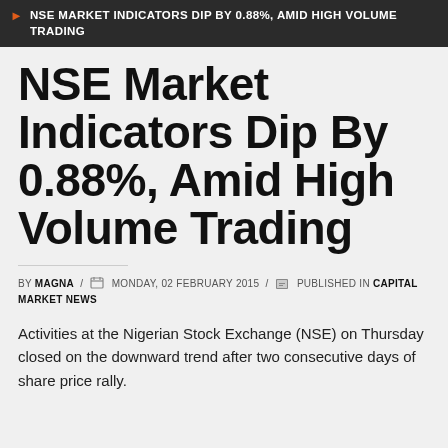NSE MARKET INDICATORS DIP BY 0.88%, AMID HIGH VOLUME TRADING
NSE Market Indicators Dip By 0.88%, Amid High Volume Trading
BY MAGNA / MONDAY, 02 FEBRUARY 2015 / PUBLISHED IN CAPITAL MARKET NEWS
Activities at the Nigerian Stock Exchange (NSE) on Thursday closed on the downward trend after two consecutive days of share price rally.
The News Agency of Nigeria (NAN) reports that the market capitalisation which opened at N₦9.394 trillion fell approximately by 0.88...